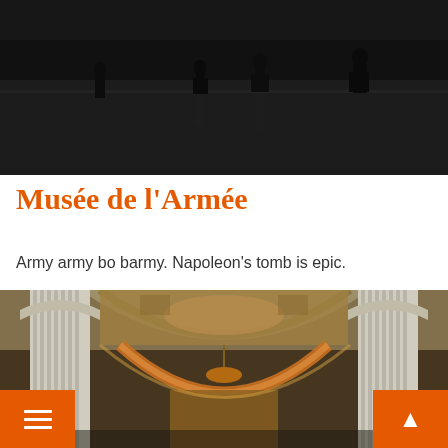[Figure (photo): Dark interior museum photo showing silhouettes of visitors walking on a reflective dark floor, viewed from above or at a distance.]
Musée de l'Armée
Army army bo barmy. Napoleon's tomb is epic.
[Figure (photo): Interior photo of Musée de l'Armée showing ornate classical architecture with Corinthian columns, decorated arched ceiling with frescoes, and golden baroque altar/monument.]